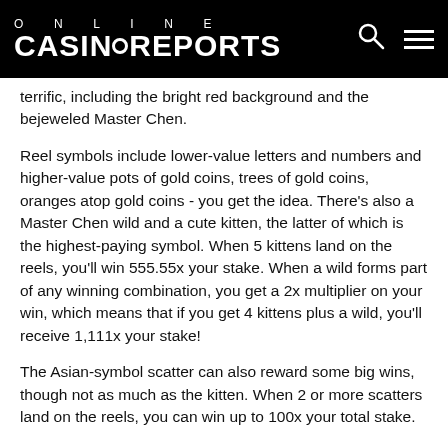ONLINE CASINOREPORTS
terrific, including the bright red background and the bejeweled Master Chen.
Reel symbols include lower-value letters and numbers and higher-value pots of gold coins, trees of gold coins, oranges atop gold coins - you get the idea. There’s also a Master Chen wild and a cute kitten, the latter of which is the highest-paying symbol. When 5 kittens land on the reels, you’ll win 555.55x your stake. When a wild forms part of any winning combination, you get a 2x multiplier on your win, which means that if you get 4 kittens plus a wild, you’ll receive 1,111x your stake!
The Asian-symbol scatter can also reward some big wins, though not as much as the kitten. When 2 or more scatters land on the reels, you can win up to 100x your total stake.
Bottom Line
Master Chen’s Fortune is visually beautiful but lacks in